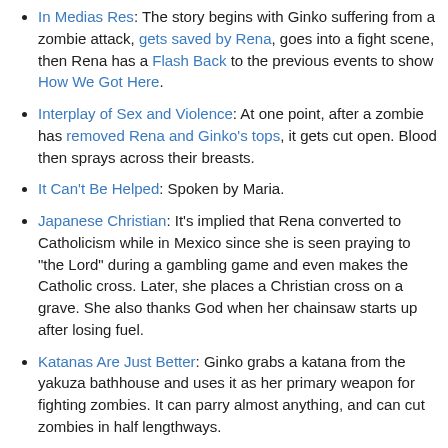In Medias Res: The story begins with Ginko suffering from a zombie attack, gets saved by Rena, goes into a fight scene, then Rena has a Flash Back to the previous events to show How We Got Here.
Interplay of Sex and Violence: At one point, after a zombie has removed Rena and Ginko's tops, it gets cut open. Blood then sprays across their breasts.
It Can't Be Helped: Spoken by Maria.
Japanese Christian: It's implied that Rena converted to Catholicism while in Mexico since she is seen praying to "the Lord" during a gambling game and even makes the Catholic cross. Later, she places a Christian cross on a grave. She also thanks God when her chainsaw starts up after losing fuel.
Katanas Are Just Better: Ginko grabs a katana from the yakuza bathhouse and uses it as her primary weapon for fighting zombies. It can parry almost anything, and can cut zombies in half lengthways.
Kisarazu Fanservice: A commentary of November to ...